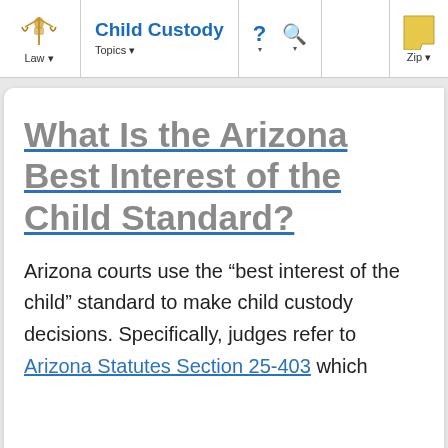Child Custody | Law | Topics | Zip
What Is the Arizona Best Interest of the Child Standard?
Arizona courts use the “best interest of the child” standard to make child custody decisions. Specifically, judges refer to Arizona Statutes Section 25-403 which